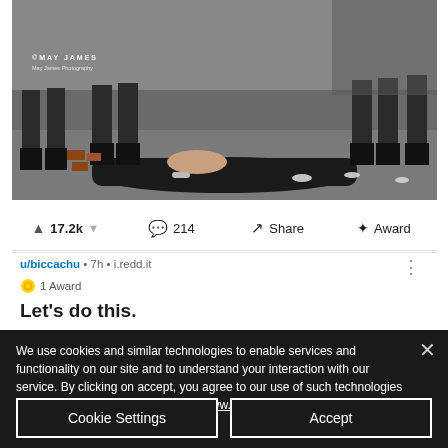[Figure (photo): News photograph showing a person lying face down on the ground surrounded by police officers in riot gear. Debris including bricks and canisters visible on the ground. Watermark reads 'MAY JAMES' and website URL.]
17.2k  214  Share  Award
u/biccachu • 7h • i.redd.it  1 Award
Let's do this.
We use cookies and similar technologies to enable services and functionality on our site and to understand your interaction with our service. By clicking on accept, you agree to our use of such technologies for marketing and analytics. https://www.wethepeopleofhk.com/post/dat
Cookie Settings
Accept